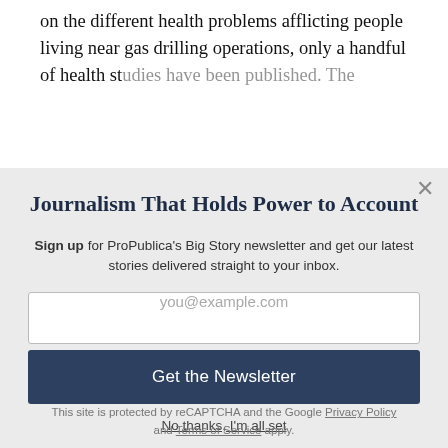on the different health problems afflicting people living near gas drilling operations, only a handful of health studies have been published. The
Journalism That Holds Power to Account
Sign up for ProPublica's Big Story newsletter and get our latest stories delivered straight to your inbox.
you@example.com
Get the Newsletter
No thanks, I'm all set
This site is protected by reCAPTCHA and the Google Privacy Policy and Terms of Service apply.